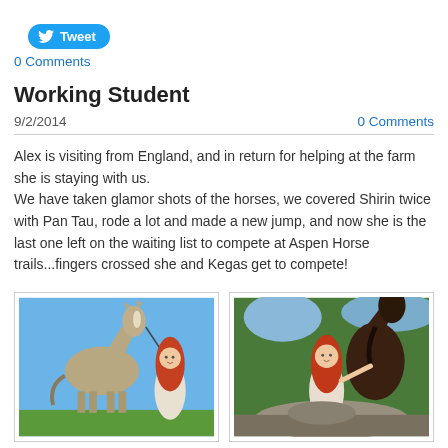[Figure (other): Twitter Tweet button with bird icon]
0 Comments
Working Student
9/2/2014
0 Comments
Alex is visiting from England, and in return for helping at the farm she is staying with us.
We have taken glamor shots of the horses, we covered Shirin twice with Pan Tau, rode a lot and made a new jump, and now she is the last one left on the waiting list to compete at Aspen Horse trails...fingers crossed she and Kegas get to compete!
[Figure (photo): Woman with long red hair in white dress standing next to a gray/dun horse against blue sky background]
[Figure (photo): Woman with long red hair near a dark brown horse among trees in outdoor setting]